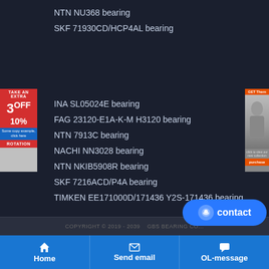NTN NU368 bearing
SKF 71930CD/HCP4AL bearing
[Figure (infographic): Red advertisement banner on left side: TAKE AN EXTRA 3 OFF 10%]
[Figure (photo): Advertisement banner on right side showing a person, orange button at bottom]
INA SL05024E bearing
FAG 23120-E1A-K-M H3120 bearing
NTN 7913C bearing
NACHI NN3028 bearing
NTN NKIB5908R bearing
SKF 7216ACD/P4A bearing
TIMKEN EE171000D/171436 Y2S-171436 bearing
COPYRIGHT © 2019 - 2039    GBS BEARING CO...
[Figure (infographic): Contact button (blue rounded button with smiley icon and 'contact' text)]
[Figure (infographic): Navigation bar with Home, Send email, OL-message buttons]